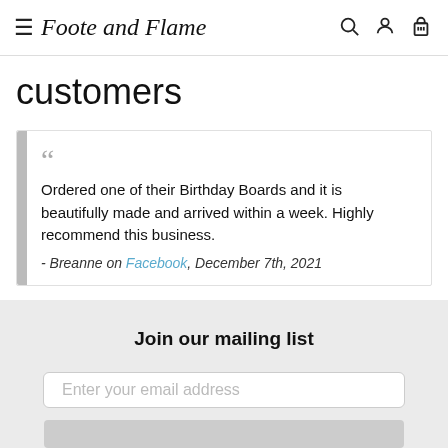Foote and Flame
customers
Ordered one of their Birthday Boards and it is beautifully made and arrived within a week. Highly recommend this business. - Breanne on Facebook, December 7th, 2021
Join our mailing list
Enter your email address